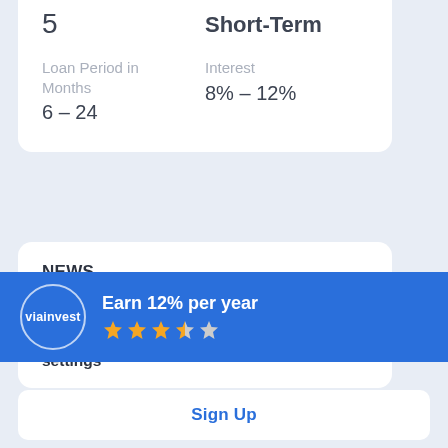5
Short-Term
Loan Period in Months
Interest
6 – 24
8% – 12%
NEWS
15 August 2022
VIAINVEST has amended the Auto Invest settings
Earn 12% per year
Sign Up